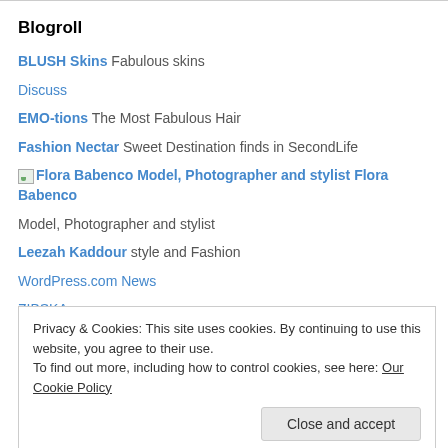Blogroll
BLUSH Skins Fabulous skins
Discuss
EMO-tions The Most Fabulous Hair
Fashion Nectar Sweet Destination finds in SecondLife
Flora Babenco Model, Photographer and stylist Flora Babenco
Model, Photographer and stylist
Leezah Kaddour style and Fashion
WordPress.com News
ZIBSKA
[VM]VERO MODERO Fashion
Privacy & Cookies: This site uses cookies. By continuing to use this website, you agree to their use. To find out more, including how to control cookies, see here: Our Cookie Policy
Model, Photographer and stylist